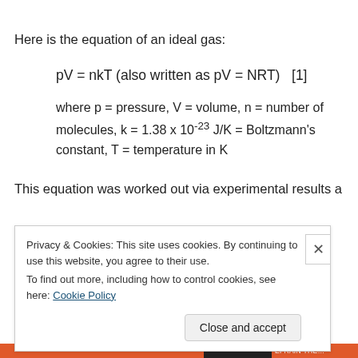Here is the equation of an ideal gas:
where p = pressure, V = volume, n = number of molecules, k = 1.38 x 10^{-23} J/K = Boltzmann's constant, T = temperature in K
This equation was worked out via experimental results a
Privacy & Cookies: This site uses cookies. By continuing to use this website, you agree to their use.
To find out more, including how to control cookies, see here: Cookie Policy
Close and accept